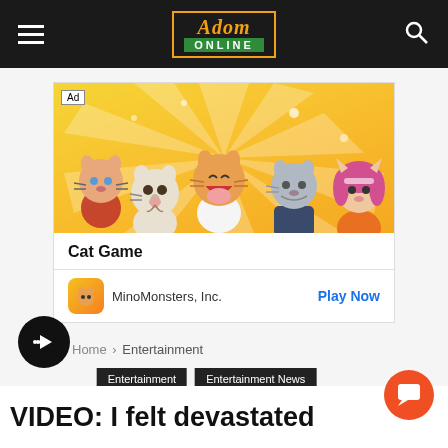Adom Online
[Figure (illustration): Cat Game mobile game advertisement with cartoon cat characters on a yellow sunburst background. Shows 5 anime-style cat characters. Ad label in top left. Bottom shows 'Cat Game' title, MinoMonsters Inc. developer name, app icon, and 'Play Now' button in blue.]
Home > Entertainment
Entertainment | Entertainment News
VIDEO: I felt devastated